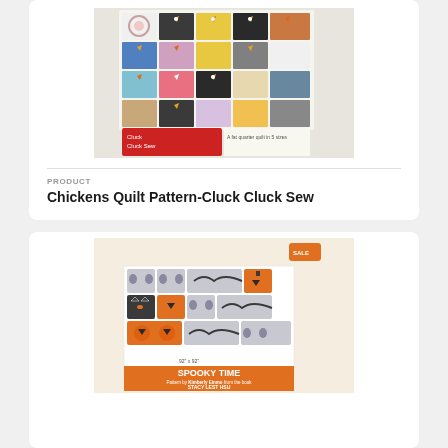[Figure (photo): Chickens Quilt pattern cover showing colorful chicken blocks arranged in a grid on a white quilt, with a book cover at the bottom saying 'A fat quarter quilt in 5 sizes']
PRODUCT
Chickens Quilt Pattern-Cluck Cluck Sew
[Figure (photo): Spooky Time quilt pattern cover showing Halloween themed quilt blocks with ghosts, bats, pumpkins and black cats on cream background, orange bar at bottom reading SPOOKY TIME by Stacy Lest Hsu]